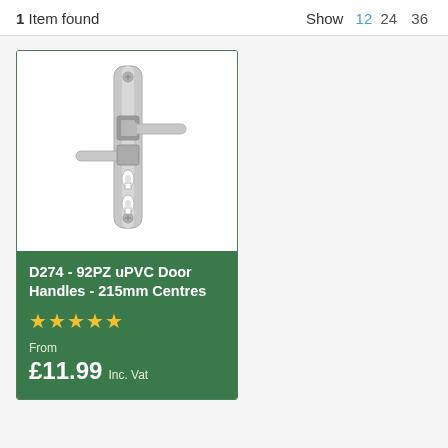1 Item found   Show 12 24 36
[Figure (photo): White uPVC door handle set with two lever handles and keyhole cutouts on a backplate]
D274 - 92PZ uPVC Door Handles - 215mm Centres
★★★★★
From £11.99 Inc. Vat